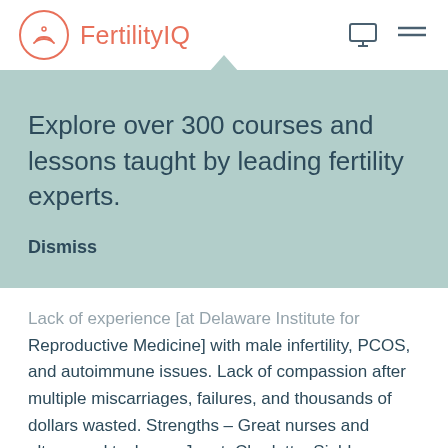FertilityIQ
Explore over 300 courses and lessons taught by leading fertility experts.
Dismiss
Lack of experience [at Delaware Institute for Reproductive Medicine] with male infertility, PCOS, and autoimmune issues. Lack of compassion after multiple miscarriages, failures, and thousands of dollars wasted. Strengths - Great nurses and ultrasound techs. ... Janet, Charlotte, Siobhan, Linda,...
See full review >